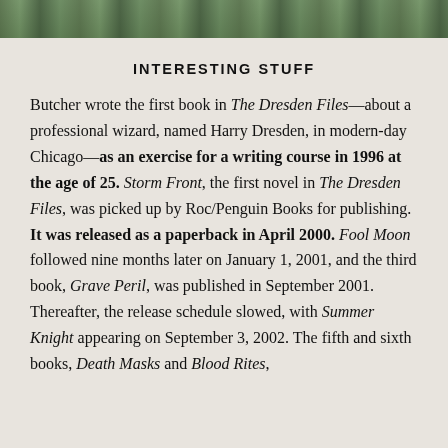[Figure (photo): Cropped photo strip at top of page, showing partial outdoor scene with foliage or figures.]
INTERESTING STUFF
Butcher wrote the first book in The Dresden Files—about a professional wizard, named Harry Dresden, in modern-day Chicago—as an exercise for a writing course in 1996 at the age of 25. Storm Front, the first novel in The Dresden Files, was picked up by Roc/Penguin Books for publishing. It was released as a paperback in April 2000. Fool Moon followed nine months later on January 1, 2001, and the third book, Grave Peril, was published in September 2001. Thereafter, the release schedule slowed, with Summer Knight appearing on September 3, 2002. The fifth and sixth books, Death Masks and Blood Rites,